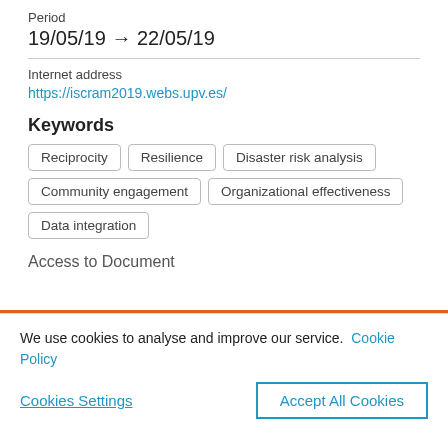Period
19/05/19 → 22/05/19
Internet address
https://iscram2019.webs.upv.es/
Keywords
Reciprocity
Resilience
Disaster risk analysis
Community engagement
Organizational effectiveness
Data integration
Access to Document
We use cookies to analyse and improve our service. Cookie Policy
Cookies Settings
Accept All Cookies